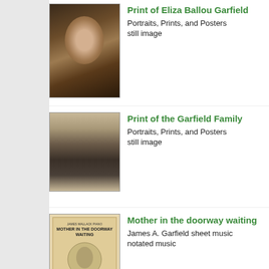[Figure (photo): Portrait print of an elderly white-haired woman (Eliza Ballou Garfield) wearing a shawl]
Print of Eliza Ballou Garfield
Portraits, Prints, and Posters
still image
[Figure (photo): Group portrait print of the Garfield Family seated together]
Print of the Garfield Family
Portraits, Prints, and Posters
still image
[Figure (photo): Sheet music cover for 'Mother in the Doorway Waiting' - James A. Garfield sheet music]
Mother in the doorway waiting
James A. Garfield sheet music
notated music